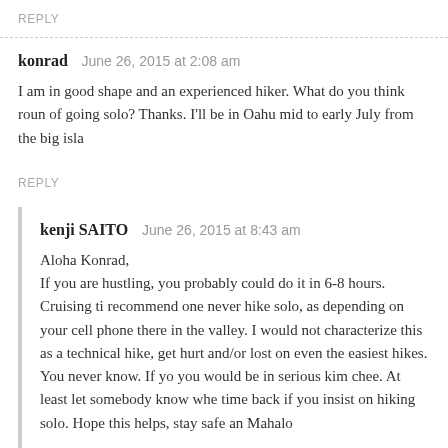REPLY
konrad   June 26, 2015 at 2:08 am
I am in good shape and an experienced hiker. What do you think round of going solo? Thanks. I'll be in Oahu mid to early July from the big isla
REPLY
kenji SAITO   June 26, 2015 at 8:43 am
Aloha Konrad,
If you are hustling, you probably could do it in 6-8 hours. Cruising ti recommend one never hike solo, as depending on your cell phone there in the valley. I would not characterize this as a technical hike, get hurt and/or lost on even the easiest hikes. You never know. If yo you would be in serious kim chee. At least let somebody know whe time back if you insist on hiking solo. Hope this helps, stay safe and Mahalo
REPLY